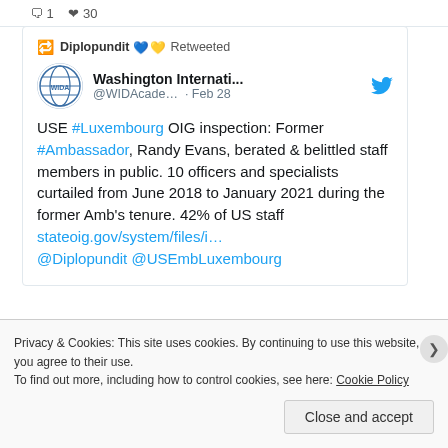1  30
Diplopundit 💙💛 Retweeted
Washington Internati... @WIDAcade… · Feb 28
USE #Luxembourg OIG inspection: Former #Ambassador, Randy Evans, berated & belittled staff members in public. 10 officers and specialists curtailed from June 2018 to January 2021 during the former Amb's tenure. 42% of US staff stateoig.gov/system/files/i… @Diplopundit @USEmbLuxembourg
[Figure (photo): Partial view of an image at the bottom of the tweet card]
Privacy & Cookies: This site uses cookies. By continuing to use this website, you agree to their use.
To find out more, including how to control cookies, see here: Cookie Policy
Close and accept